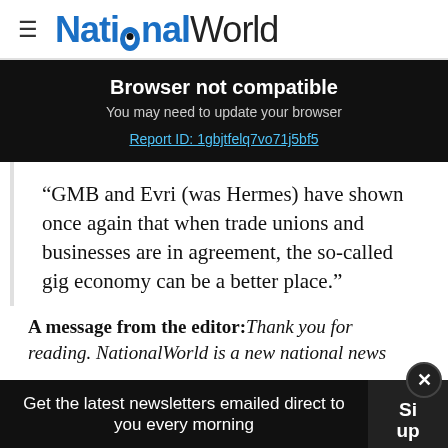NationalWorld
Browser not compatible
You may need to update your browser
Report ID: 1gbjtfelq7vo71j5bf5
“GMB and Evri (was Hermes) have shown once again that when trade unions and businesses are in agreement, the so-called gig economy can be a better place.”
A message from the editor: Thank you for reading. NationalWorld is a new national news
Get the latest newsletters emailed direct to you every morning